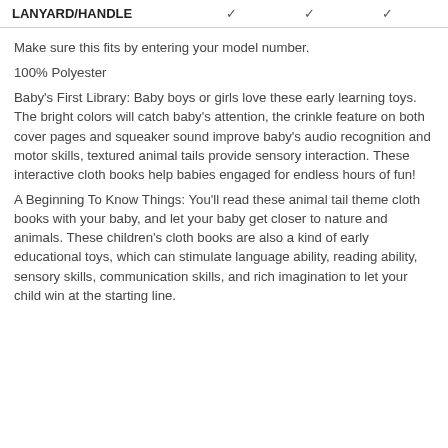| LANYARD/HANDLE |  |  |  |
| --- | --- | --- | --- |
|  | ✓ | ✓ | ✓ |
Make sure this fits by entering your model number.
100% Polyester
Baby's First Library: Baby boys or girls love these early learning toys. The bright colors will catch baby's attention, the crinkle feature on both cover pages and squeaker sound improve baby's audio recognition and motor skills, textured animal tails provide sensory interaction. These interactive cloth books help babies engaged for endless hours of fun!
A Beginning To Know Things: You'll read these animal tail theme cloth books with your baby, and let your baby get closer to nature and animals. These children's cloth books are also a kind of early educational toys, which can stimulate language ability, reading ability, sensory skills, communication skills, and rich imagination to let your child win at the starting line.